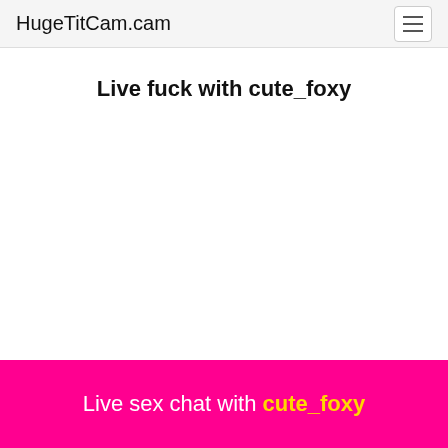HugeTitCam.cam
Live fuck with cute_foxy
Live sex chat with cute_foxy